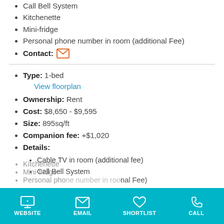Call Bell System
Kitchenette
Mini-fridge
Personal phone number in room (additional Fee)
Contact: [email icon]
Type: 1-bed
View floorplan
Ownership: Rent
Cost: $8,650 - $9,595
Size: 895sq/ft
Companion fee: +$1,020
Details:
Cable TV in room (additional fee)
Call Bell System
Kitchenette
Mini-fridge
Personal phone number in room (additional Fee)
WEBSITE  EMAIL  SHORTLIST  CALL